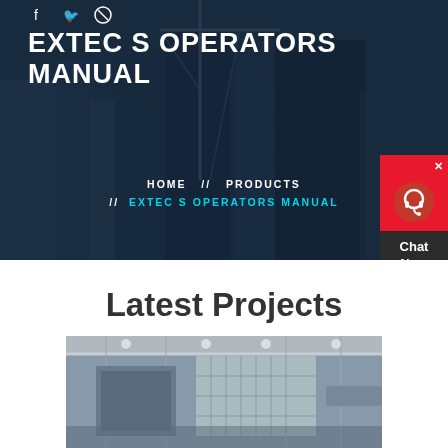EXTEC S OPERATORS MANUAL
HOME // PRODUCTS // EXTEC S OPERATORS MANUAL
Latest Projects
[Figure (photo): Industrial machinery/crusher equipment inside a facility with steel structure and overhead lighting]